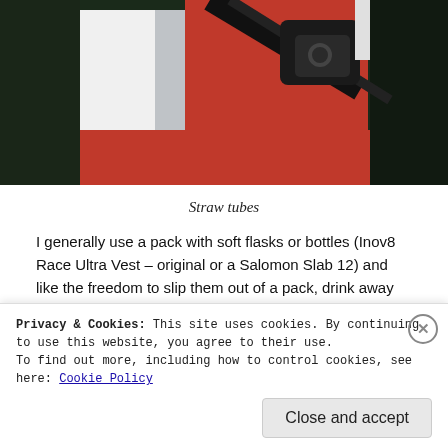[Figure (photo): Close-up photo of a person wearing a red and white running vest/pack with black straps visible across the back/shoulder area. Outdoor background.]
Straw tubes
I generally use a pack with soft flasks or bottles (Inov8 Race Ultra Vest – original or a Salomon Slab 12) and like the freedom to slip them out of a pack, drink away and refill them quite quickly. The soft flask pockets sat up to the side of my rib-cage area and I didn't find it easy to slip the soft flasks in or out when trying to drink from them or re-fill them to be honest.
Privacy & Cookies: This site uses cookies. By continuing to use this website, you agree to their use.
To find out more, including how to control cookies, see here: Cookie Policy